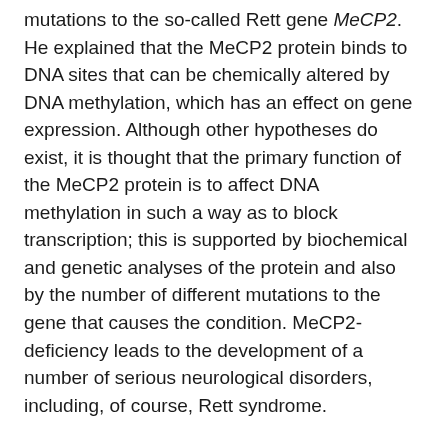mutations to the so-called Rett gene MeCP2. He explained that the MeCP2 protein binds to DNA sites that can be chemically altered by DNA methylation, which has an effect on gene expression. Although other hypotheses do exist, it is thought that the primary function of the MeCP2 protein is to affect DNA methylation in such a way as to block transcription; this is supported by biochemical and genetic analyses of the protein and also by the number of different mutations to the gene that causes the condition. MeCP2-deficiency leads to the development of a number of serious neurological disorders, including, of course, Rett syndrome.
The most interesting part of the talk, however, was a very visual demonstration, using mice as models, that the disorder is potentially curable with the aid of videos.
Video 1 shows a MeCP2-deficient mouse with Rett Syndrome li...